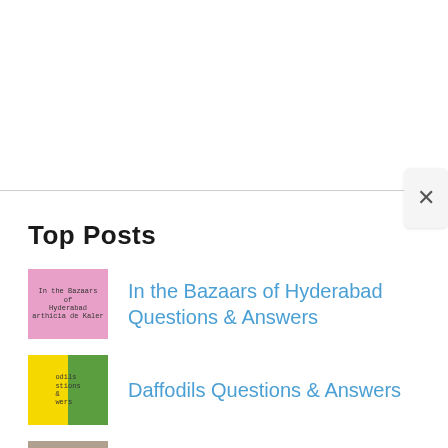Top Posts
In the Bazaars of Hyderabad Questions & Answers
Daffodils Questions & Answers
Stopping by Woods on a Snowy Evening Questions & Answers